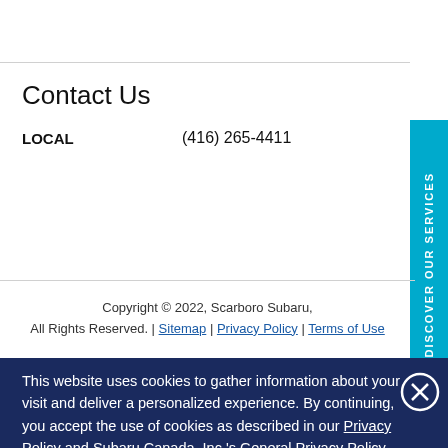Contact Us
LOCAL    (416) 265-4411
Copyright © 2022, Scarboro Subaru, All Rights Reserved. | Sitemap | Privacy Policy | Terms of Use
This website uses cookies to gather information about your visit and deliver a personalized experience. By continuing, you accept the use of cookies as described in our Privacy Policy and Subaru Canada, Inc.'s General Privacy Policy. You